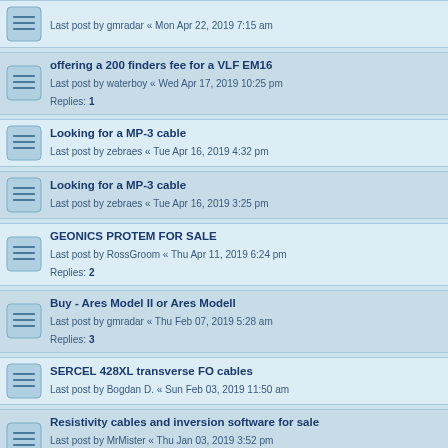Last post by gmradar « Mon Apr 22, 2019 7:15 am
offering a 200 finders fee for a VLF EM16
Last post by waterboy « Wed Apr 17, 2019 10:25 pm
Replies: 1
Looking for a MP-3 cable
Last post by zebraes « Tue Apr 16, 2019 4:32 pm
Looking for a MP-3 cable
Last post by zebraes « Tue Apr 16, 2019 3:25 pm
GEONICS PROTEM FOR SALE
Last post by RossGroom « Thu Apr 11, 2019 6:24 pm
Replies: 2
Buy - Ares Model II or Ares Modell
Last post by gmradar « Thu Feb 07, 2019 5:28 am
Replies: 3
SERCEL 428XL transverse FO cables
Last post by Bogdan D. « Sun Feb 03, 2019 11:50 am
Resistivity cables and inversion software for sale
Last post by MrMister « Thu Jan 03, 2019 3:52 pm
Replies: 1
I need resistivity meter
Last post by kanopa « Wed Dec 19, 2018 4:43 am
Prices resistivity systems
Last post by Stipetic « Tue Nov 27, 2018 6:18 pm
Mala Geoscience GPR for sale